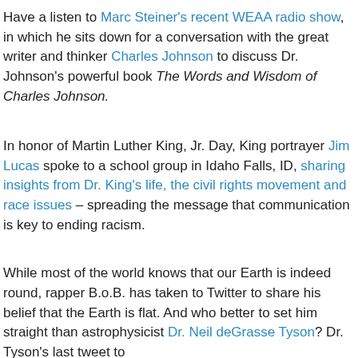Have a listen to Marc Steiner's recent WEAA radio show, in which he sits down for a conversation with the great writer and thinker Charles Johnson to discuss Dr. Johnson's powerful book The Words and Wisdom of Charles Johnson.
In honor of Martin Luther King, Jr. Day, King portrayer Jim Lucas spoke to a school group in Idaho Falls, ID, sharing insights from Dr. King's life, the civil rights movement and race issues – spreading the message that communication is key to ending racism.
While most of the world knows that our Earth is indeed round, rapper B.o.B. has taken to Twitter to share his belief that the Earth is flat. And who better to set him straight than astrophysicist Dr. Neil deGrasse Tyson? Dr. Tyson's last tweet to